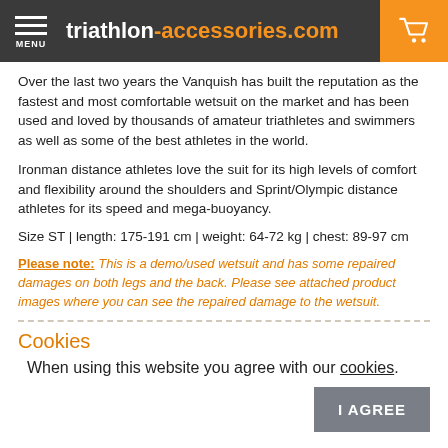triathlon-accessories.com
Over the last two years the Vanquish has built the reputation as the fastest and most comfortable wetsuit on the market and has been used and loved by thousands of amateur triathletes and swimmers as well as some of the best athletes in the world.
Ironman distance athletes love the suit for its high levels of comfort and flexibility around the shoulders and Sprint/Olympic distance athletes for its speed and mega-buoyancy.
Size ST | length: 175-191 cm | weight: 64-72 kg | chest: 89-97 cm
Please note: This is a demo/used wetsuit and has some repaired damages on both legs and the back. Please see attached product images where you can see the repaired damage to the wetsuit.
Cookies
When using this website you agree with our cookies.